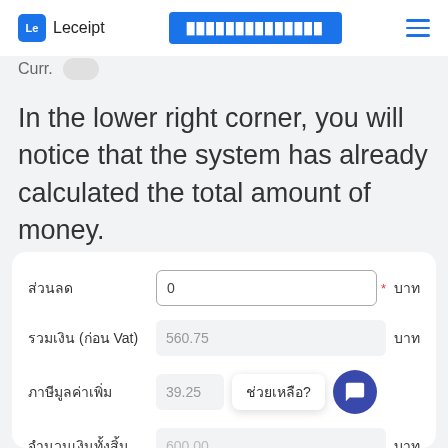Le Leceipt | [Thai navigation button] | hamburger menu
Curr. [toggle]
In the lower right corner, you will notice that the system has already calculated the total amount of money.
| Label | Input | Unit |
| --- | --- | --- |
| ส่วนลด | 0 | บาท |
| รวมเงิน (ก่อน Vat) | 560.75 | บาท |
| ภาษีมูลค่าเพิ่ม | 39.25 | บาท |
| จำนวนเงินทั้งสิ้น | 600.00 | บาท |